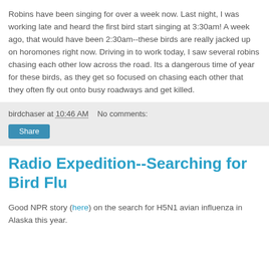Robins have been singing for over a week now. Last night, I was working late and heard the first bird start singing at 3:30am! A week ago, that would have been 2:30am--these birds are really jacked up on horomones right now. Driving in to work today, I saw several robins chasing each other low across the road. Its a dangerous time of year for these birds, as they get so focused on chasing each other that they often fly out onto busy roadways and get killed.
birdchaser at 10:46 AM   No comments:
Share
Radio Expedition--Searching for Bird Flu
Good NPR story (here) on the search for H5N1 avian influenza in Alaska this year.